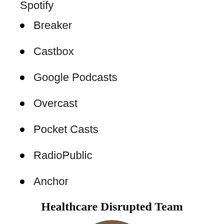Spotify
Breaker
Castbox
Google Podcasts
Overcast
Pocket Casts
RadioPublic
Anchor
Healthcare Disrupted Team
[Figure (photo): Circular portrait photo of a smiling Black man wearing glasses and a dark suit with a light blue shirt, against a warm brown background]